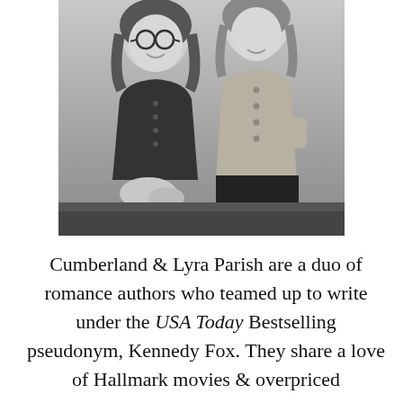[Figure (photo): Black and white photograph of two women smiling, posed together. The woman on the left wears glasses and a dark cardigan. The woman on the right wears a light button-up blouse.]
Cumberland & Lyra Parish are a duo of romance authors who teamed up to write under the USA Today Bestselling pseudonym, Kennedy Fox. They share a love of Hallmark movies & overpriced